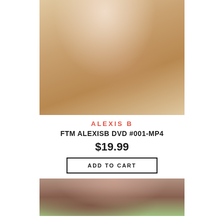[Figure (photo): Product photo showing a person with long blonde hair wearing a white top, photographed from torso up against a warm indoor background]
ALEXIS B
FTM ALEXISB DVD #001-MP4
$19.99
ADD TO CART
[Figure (photo): Product photo showing a person with dark hair, photographed from head/face level against an outdoor green background]